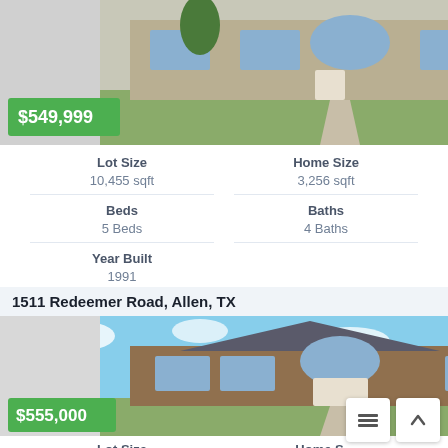[Figure (photo): Two-story brick/stone house with green lawn, price badge $549,999]
| Lot Size | Home Size |
| --- | --- |
| 10,455 sqft | 3,256 sqft |
| 5 Beds | 4 Baths |
| 1991 |  |
1511 Redeemer Road, Allen, TX
[Figure (photo): Two-story brick house with arched entry, blue sky, price badge $555,000]
| Lot Size | Home Size |
| --- | --- |
| 7,998 sqft | 3,507 sqft |